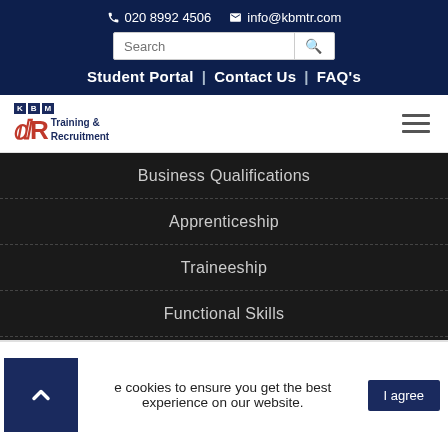020 8992 4506  info@kbmtr.com
Search
Student Portal | Contact Us | FAQ's
[Figure (logo): KBM Training & Recruitment logo with red TR letters and navy blue KBM badge]
Business Qualifications
Apprenticeship
Traineeship
Functional Skills
e cookies to ensure you get the best experience on our website.
I agree